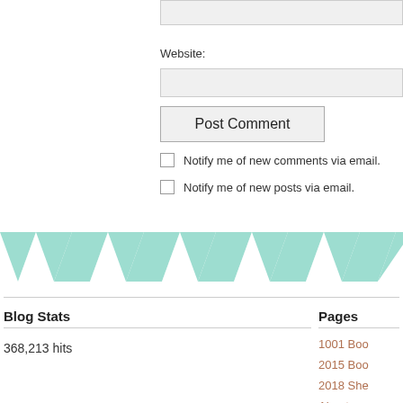Website:
Post Comment
Notify me of new comments via email.
Notify me of new posts via email.
[Figure (illustration): Decorative teal/mint chevron zigzag pattern banner divider]
Blog Stats
368,213 hits
Pages
1001 Boo…
2015 Boo…
2018 She…
About
Book Ma…